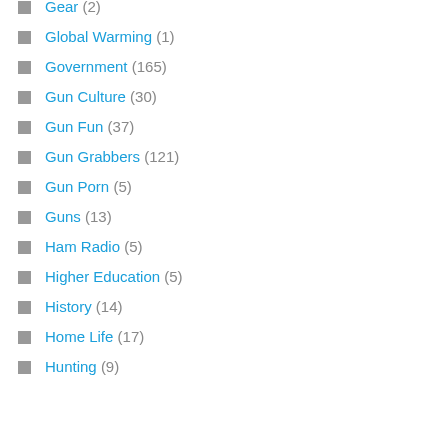Gear (2)
Global Warming (1)
Government (165)
Gun Culture (30)
Gun Fun (37)
Gun Grabbers (121)
Gun Porn (5)
Guns (13)
Ham Radio (5)
Higher Education (5)
History (14)
Home Life (17)
Hunting (9)